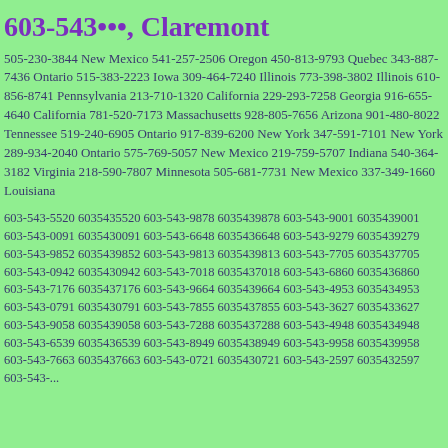603-543•••, Claremont
505-230-3844 New Mexico 541-257-2506 Oregon 450-813-9793 Quebec 343-887-7436 Ontario 515-383-2223 Iowa 309-464-7240 Illinois 773-398-3802 Illinois 610-856-8741 Pennsylvania 213-710-1320 California 229-293-7258 Georgia 916-655-4640 California 781-520-7173 Massachusetts 928-805-7656 Arizona 901-480-8022 Tennessee 519-240-6905 Ontario 917-839-6200 New York 347-591-7101 New York 289-934-2040 Ontario 575-769-5057 New Mexico 219-759-5707 Indiana 540-364-3182 Virginia 218-590-7807 Minnesota 505-681-7731 New Mexico 337-349-1660 Louisiana
603-543-5520 6035435520 603-543-9878 6035439878 603-543-9001 6035439001 603-543-0091 6035430091 603-543-6648 6035436648 603-543-9279 6035439279 603-543-9852 6035439852 603-543-9813 6035439813 603-543-7705 6035437705 603-543-0942 6035430942 603-543-7018 6035437018 603-543-6860 6035436860 603-543-7176 6035437176 603-543-9664 6035439664 603-543-4953 6035434953 603-543-0791 6035430791 603-543-7855 6035437855 603-543-3627 6035433627 603-543-9058 6035439058 603-543-7288 6035437288 603-543-4948 6035434948 603-543-6539 6035436539 603-543-8949 6035438949 603-543-9958 6035439958 603-543-7663 6035437663 603-543-0721 6035430721 603-543-2597 6035432597 603-543-...